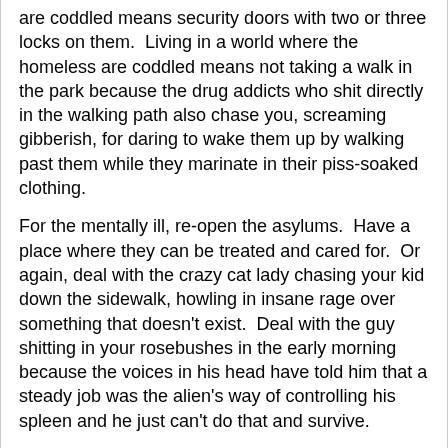are coddled means security doors with two or three locks on them.  Living in a world where the homeless are coddled means not taking a walk in the park because the drug addicts who shit directly in the walking path also chase you, screaming gibberish, for daring to wake them up by walking past them while they marinate in their piss-soaked clothing.
For the mentally ill, re-open the asylums.  Have a place where they can be treated and cared for.  Or again, deal with the crazy cat lady chasing your kid down the sidewalk, howling in insane rage over something that doesn't exist.  Deal with the guy shitting in your rosebushes in the early morning because the voices in his head have told him that a steady job was the alien's way of controlling his spleen and he just can't do that and survive.
Stop with the hand-outs, and quite a bit of the homeless would be forced to either change their habits, or die.  And then you can truly help the people who actually need it.
Ragin' Dave at 23:30    3 comments: